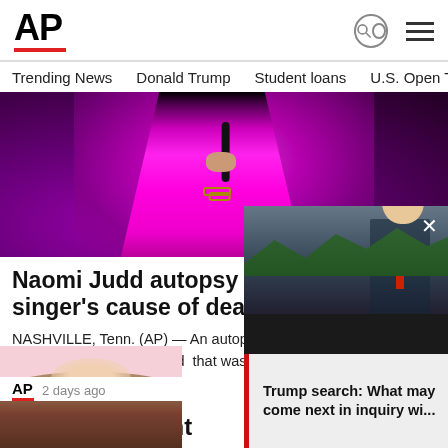AP
Trending News   Donald Trump   Student loans   U.S. Open Tenn
[Figure (photo): Person in bright pink/magenta outfit holding a microphone on a stage, photographed from chest level]
Naomi Judd autopsy confirms country singer's cause of death
NASHVILLE, Tenn. (AP) — An autopsy report in the death of country singer Naomi Judd  that was ob
2 days ago
AP content
[Figure (photo): Partial photo of a woman with brown hair against pink background]
[Figure (photo): Popup overlay showing a man in a suit (Trump) outside, with text overlay reading: Trump search: What may come next in inquiry wi...]